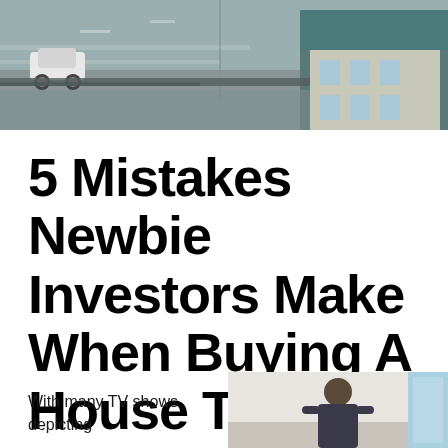[Figure (photo): Aerial view of a road intersection with cars and a building with a teal/green roof]
5 Mistakes Newbie Investors Make When Buying A House To Flip
With many TV shows depicting
[Figure (photo): Partial view of a person, likely related to house flipping or real estate]